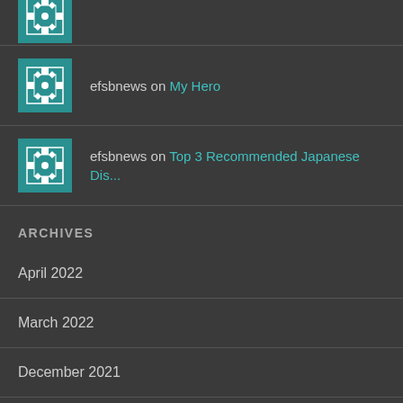[Figure (illustration): Teal geometric avatar icon (partially cropped at top of page)]
efsbnews on My Hero
efsbnews on Top 3 Recommended Japanese Dis...
ARCHIVES
April 2022
March 2022
December 2021
November 2021